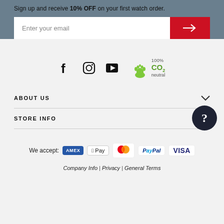Sign up and receive 10% OFF on your first watch order.
[Figure (screenshot): Email signup input field with red submit arrow button]
[Figure (infographic): Social media icons: Facebook, Instagram, YouTube, and 100% CO2 neutral footprint badge]
ABOUT US
STORE INFO
[Figure (illustration): Dark circular help/question mark button]
We accept: AMEX, Apple Pay, Mastercard, PayPal, VISA
Company Info | Privacy | General Terms